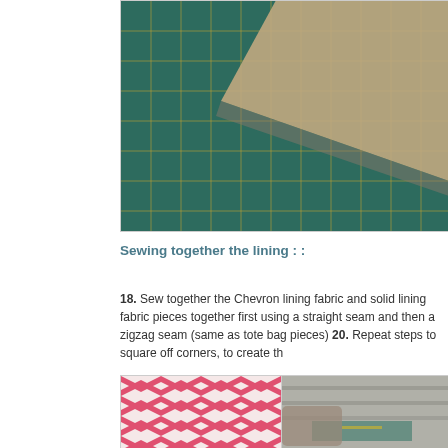[Figure (photo): Photo of a green cutting mat with yellow grid lines and a rolled piece of brown/tan fabric or paper diagonally placed across it]
Sewing together the lining : :
18. Sew together the Chevron lining fabric and solid lining fabric pieces together first using a straight seam and then a zigzag seam (same as tote bag pieces) 20. Repeat steps to square off corners, to create th
[Figure (photo): Two photos side by side: left shows pink and white chevron fabric, right shows someone holding fabric near a green cutting mat in a workshop]